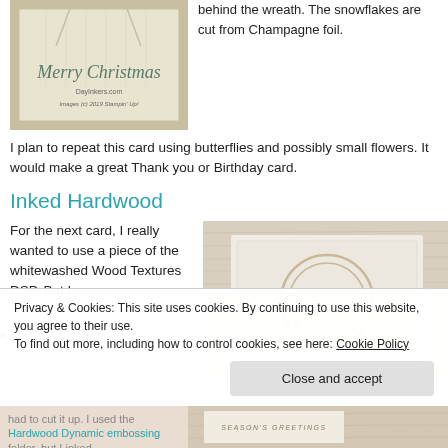[Figure (photo): Merry Christmas card with gold border on white background, DayInkers.com watermark, Images (c) 2019 Stampin Up]
behind the wreath. The snowflakes are cut from Champagne foil.
I plan to repeat this card using butterflies and possibly small flowers. It would make a great Thank you or Birthday card.
Inked Hardwood
For the next card, I really wanted to use a piece of the whitewashed Wood Textures DSP. But I
[Figure (photo): Whitewashed wood texture background with a card featuring embossed circular wreath design]
Privacy & Cookies: This site uses cookies. By continuing to use this website, you agree to their use.
To find out more, including how to control cookies, see here: Cookie Policy
Close and accept
had to cut it up. I used the Hardwood Dynamic embossing folder, but I inked
[Figure (photo): Bottom strip with Season's Greetings card image]